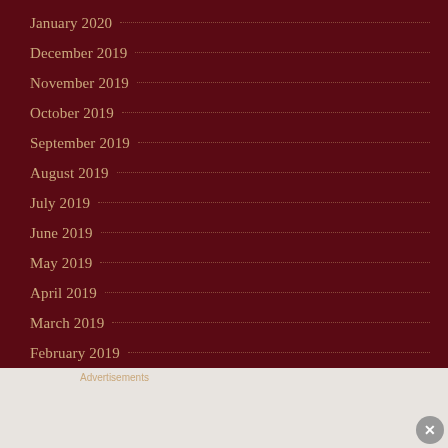January 2020
December 2019
November 2019
October 2019
September 2019
August 2019
July 2019
June 2019
May 2019
April 2019
March 2019
February 2019
Advertisements
[Figure (illustration): MAC Cosmetics advertisement banner showing colorful lipsticks with MAC logo and SHOP NOW button]